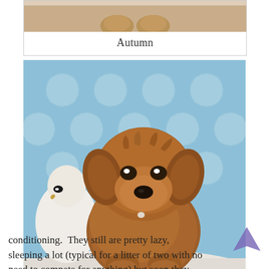[Figure (photo): Partial view of a puppy photo card showing a light brown/golden puppy from above with the caption 'Autumn' below]
Autumn
[Figure (photo): A reddish-brown goldendoodle puppy sitting on a white blanket in front of a blue and white Moroccan tile patterned backdrop, with a white stuffed animal duck/bird to its left]
conditioning.  They still are pretty lazy, sleeping a lot (typical for a litter of two with no need to compete for anything) but soon they will be...